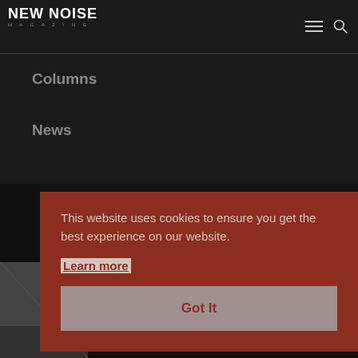NEW NOISE MAGAZINE
Columns
News
This website uses cookies to ensure you get the best experience on our website.
Learn more
Got It